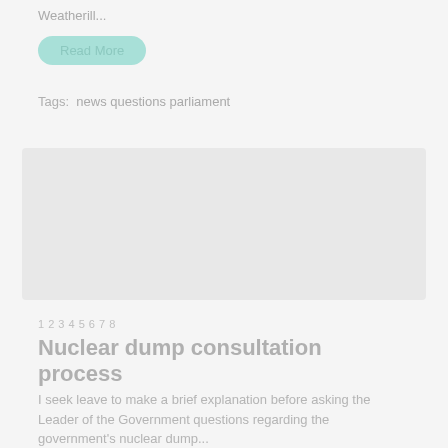Weatherill...
Read More
Tags:  news questions parliament
[Figure (screenshot): Faded image placeholder card with label 'Nuclear dump consultation process' overlaid in light gray text]
Nuclear dump consultation process
Nuclear dump consultation process
I seek leave to make a brief explanation before asking the Leader of the Government questions regarding the government's nuclear dump...